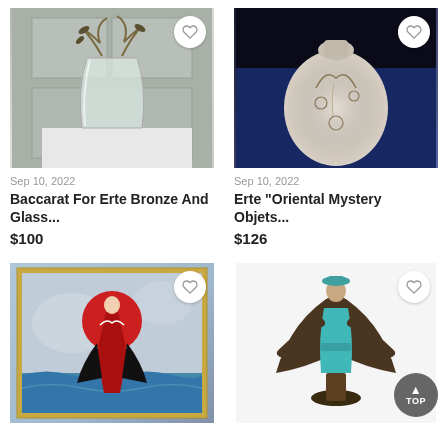[Figure (photo): Baccarat for Erte bronze and glass vase with metal leaf/branch decorations on a light gray background]
Sep 10, 2022
Baccarat For Erte Bronze And Glass...
$100
[Figure (photo): Erte Oriental Mystery decorative vase, cream/white with embossed designs, on blue/black background]
Sep 10, 2022
Erte "Oriental Mystery Objets...
$126
[Figure (photo): Framed art print with female figure in red dress standing on water in front of a large red circle/sun]
[Figure (photo): Bronze figurine of a woman in turquoise and dark bronze Art Deco style dress with wide cape sleeves]